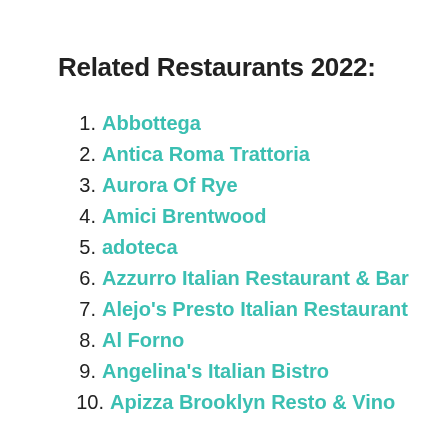Related Restaurants 2022:
1. Abbottega
2. Antica Roma Trattoria
3. Aurora Of Rye
4. Amici Brentwood
5. adoteca
6. Azzurro Italian Restaurant & Bar
7. Alejo's Presto Italian Restaurant
8. Al Forno
9. Angelina's Italian Bistro
10. Apizza Brooklyn Resto & Vino